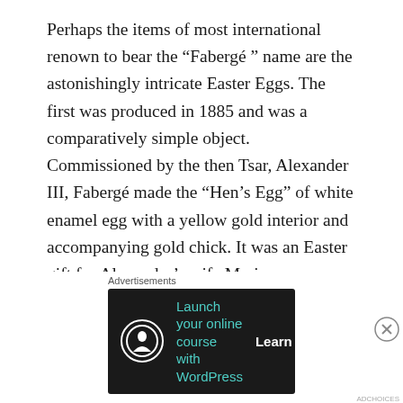Perhaps the items of most international renown to bear the “Fabergé ” name are the astonishingly intricate Easter Eggs. The first was produced in 1885 and was a comparatively simple object. Commissioned by the then Tsar, Alexander III, Fabergé made the “Hen’s Egg” of white enamel egg with a yellow gold interior and accompanying gold chick. It was an Easter gift for Alexander’s wife Maria Feodorovna, an existing Fabergé customer. Her first purchase of a pair of cuff links had assured the House of Fabergé of work as the jeweller of choice for the fine gifts that the Imperial Court was obliged to give to visiting dignitaries. The beautiful objects performed an almost ambassadorial role boasting
Advertisements
[Figure (infographic): Dark advertisement banner: circular icon with a tree/person silhouette, teal text 'Launch your online course with WordPress', white bold 'Learn More' CTA button]